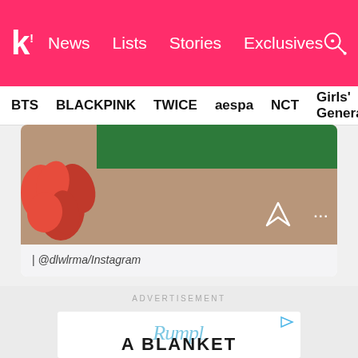k! News Lists Stories Exclusives
BTS BLACKPINK TWICE aespa NCT Girls' Generation
[Figure (screenshot): Instagram post screenshot showing a red flower and a green phone/case, with send arrow icon and ellipsis menu]
| @dlwlrma/Instagram
ADVERTISEMENT
[Figure (photo): Advertisement for Rumpl brand showing the Rumpl logo in light blue script and text 'A BLANKET' below in bold dark letters]